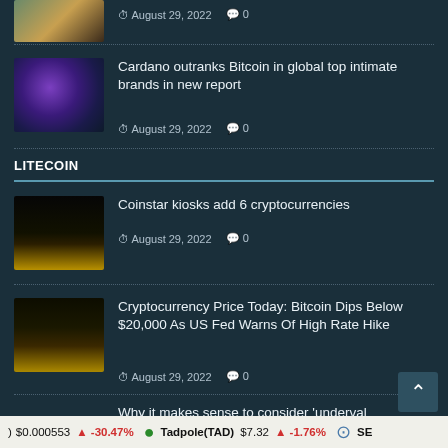[Figure (photo): Partial thumbnail of article at top, partially visible]
August 29, 2022   0
[Figure (photo): Colorful neon crypto artwork with glowing orb]
Cardano outranks Bitcoin in global top intimate brands in new report
August 29, 2022   0
LITECOIN
[Figure (photo): Gold crypto coins on dark background]
Coinstar kiosks add 6 cryptocurrencies
August 29, 2022   0
[Figure (photo): Gold bitcoin coin in soil/dirt]
Cryptocurrency Price Today: Bitcoin Dips Below $20,000 As US Fed Warns Of High Rate Hike
August 29, 2022   0
Why it makes sense to consider 'underval
$0.000553  -30.47%   Tadpole(TAD) $7.32  -1.76%   SE